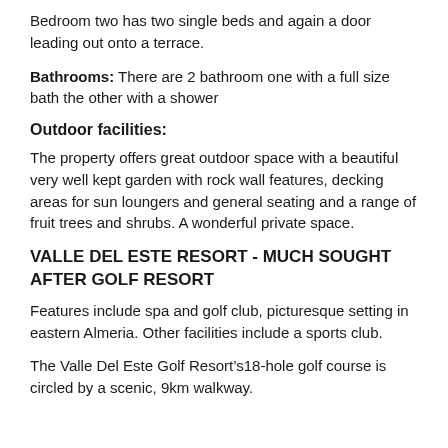Bedroom two has two single beds and again a door leading out onto a terrace.
Bathrooms: There are 2 bathroom one with a full size bath the other with a shower
Outdoor facilities:
The property offers great outdoor space with a beautiful very well kept garden with rock wall features, decking areas for sun loungers and general seating and a range of fruit trees and shrubs. A wonderful private space.
VALLE DEL ESTE RESORT - MUCH SOUGHT AFTER GOLF RESORT
Features include spa and golf club, picturesque setting in eastern Almeria. Other facilities include a sports club.
The Valle Del Este Golf Resort’s18-hole golf course is circled by a scenic, 9km walkway.